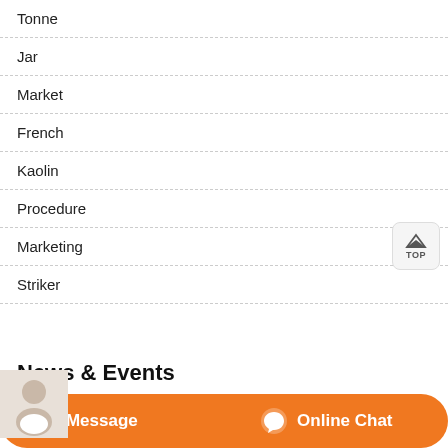Tonne
Jar
Market
French
Kaolin
Procedure
Marketing
Striker
News & Events
Durable Grinding Mill Manufacturers Price